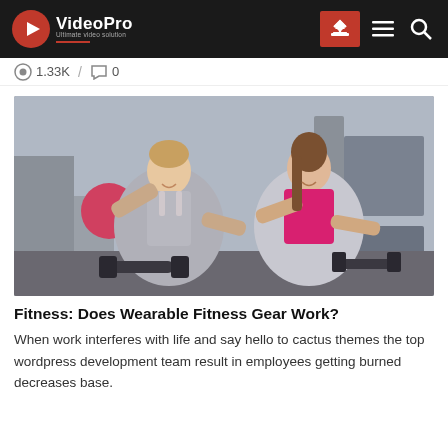VideoPro — Ultimate video solution
1.33K / 0
[Figure (photo): Two young women in a gym doing push-up exercises with dumbbells on a gym floor, smiling at the camera. Gym equipment visible in the background.]
Fitness: Does Wearable Fitness Gear Work?
When work interferes with life and say hello to cactus themes the top wordpress development team result in employees getting burned decreases base.